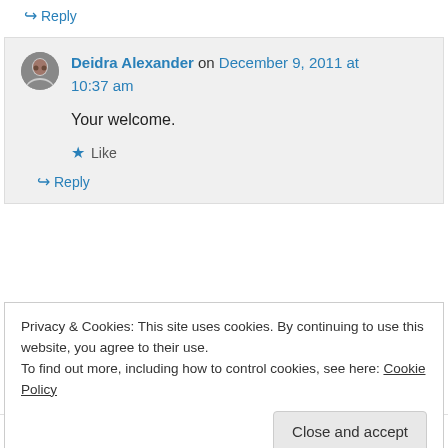↪ Reply
Deidra Alexander on December 9, 2011 at 10:37 am
Your welcome.
★ Like
↪ Reply
Privacy & Cookies: This site uses cookies. By continuing to use this website, you agree to their use. To find out more, including how to control cookies, see here: Cookie Policy
Close and accept
★ Like